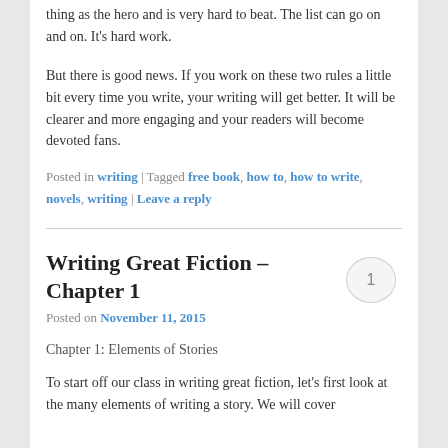thing as the hero and is very hard to beat.  The list can go on and on.  It's hard work.
But there is good news.  If you work on these two rules a little bit every time you write, your writing will get better.  It will be clearer and more engaging and your readers will become devoted fans.
Posted in writing | Tagged free book, how to, how to write, novels, writing | Leave a reply
Writing Great Fiction – Chapter 1
Posted on November 11, 2015
Chapter 1: Elements of Stories
To start off our class in writing great fiction, let's first look at the many elements of writing a story.  We will cover